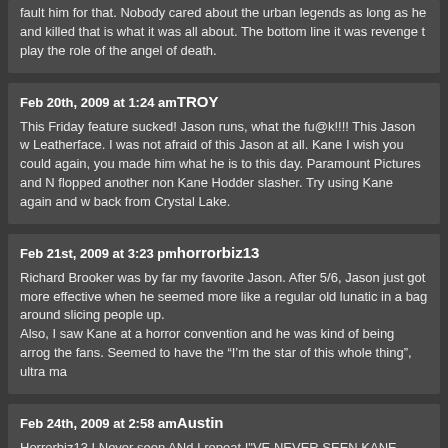fault him for that. Nobody cared about the urban legends as long as he and killed that is what it was all about. The bottom line it was revenge t play the role of the angel of death.
Feb 20th, 2009 at 1:24 am TROY
This Friday feature sucked! Jason runs, what the fu@k!!!! This Jason w Leatherface. I was not afraid of this Jason at all. Kane I wish you could again, you made him what he is to this day. Paramount Pictures and N flopped another non Kane Hodder slasher. Try using Kane again and w back from Crystal Lake.
Feb 21st, 2009 at 3:23 pm horrorbiz13
Richard Brooker was by far my favorite Jason. After 5/6, Jason just got more effective when he seemed more like a regular old lunatic in a bag around slicing people up.
Also, I saw Kane at a horror convention and he was kind of being arrog the fans. Seemed to have the “I’m the star of this whole thing”, ultra ma
Feb 24th, 2009 at 2:58 am Austin
Horrorbiz13 I Never seen ANd I repeat I"VE NEVER SEEN KANE HOD to the fans! Maybe to you he was, But Again I've known him for about 1 the conventions and he is an extremely nice guy! YOu say you saw him